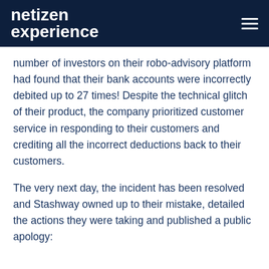netizen experience
number of investors on their robo-advisory platform had found that their bank accounts were incorrectly debited up to 27 times! Despite the technical glitch of their product, the company prioritized customer service in responding to their customers and crediting all the incorrect deductions back to their customers.
The very next day, the incident has been resolved and Stashway owned up to their mistake, detailed the actions they were taking and published a public apology: